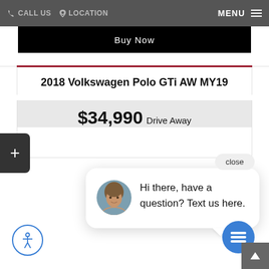CALL US   LOCATION   MENU
Buy Now
2018 Volkswagen Polo GTi AW MY19
$34,990 Drive Away
close
Hi there, have a question? Text us here.